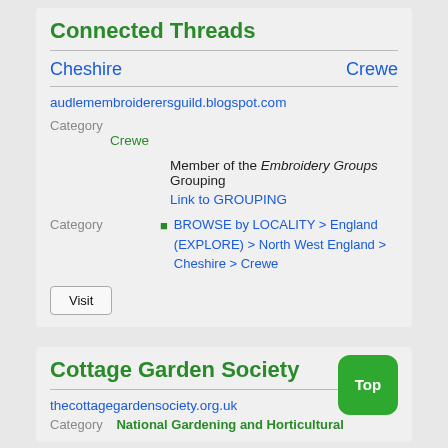Connected Threads
Cheshire   Crewe
audlemembroiderersguild.blogspot.com
Category
Crewe
Member of the Embroidery Groups Grouping
Link to GROUPING
Category
BROWSE by LOCALITY > England (EXPLORE) > North West England > Cheshire > Crewe
Visit
Cottage Garden Society
Top
thecottagegardensociety.org.uk
Category    National Gardening and Horticultural